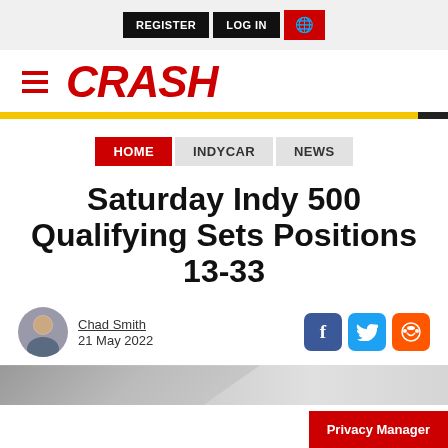REGISTER   LOG IN   🌐
[Figure (logo): CRASH logo with hamburger menu icon]
HOME  INDYCAR  NEWS
Saturday Indy 500 Qualifying Sets Positions 13-33
Chad Smith
21 May 2022
[Figure (photo): Partial racing photo at bottom of page]
Privacy Manager